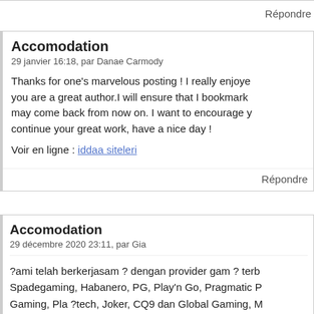Répondre
Accomodation
29 janvier 16:18, par Danae Carmody
Thanks for one's marvelous posting ! I really enjoyed you are a great author.I will ensure that I bookmark may come back from now on. I want to encourage y continue your great work, have a nice day !
Voir en ligne : iddaa siteleri
Répondre
Accomodation
29 décembre 2020 23:11, par Gia
?ami telah berkerjasam ? dengan provider gam ? terb Spadegaming, Habanero, PG, Play'n Go, Pragmatic P Gaming, Pla ?tech, Joker, CQ9 dan Global Gaming, M Berbagai provider yang dapat Anda mainkan di s ?ni a game PG Soft, Joker123, MicroGaming, Habanero, Pl agmatic Play, Spade Gaming dan CQ9. Lagi-lagi, sem permainannya berasal dari pr ?vider game resmi. And permainan slot ini mud ?h dimainkan salah satunya at slot hoki resmi juga yang akan memberikan keberuntu semua pemain. Bandar ini juga me ?upak ?n p ?nyedi slot online terbaik di indonesia. Jktgame merupakan s resmi terbesar di Indonesia. ?a u ?ne menawarkan h